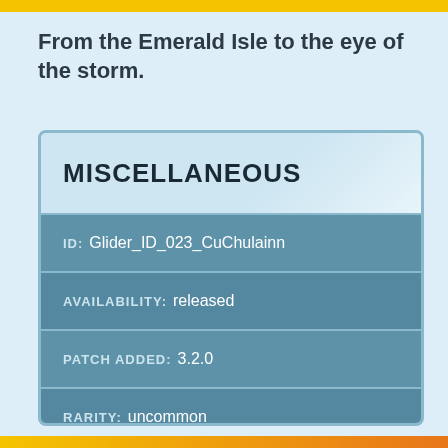From the Emerald Isle to the eye of the storm.
MISCELLANEOUS
| Field | Value |
| --- | --- |
| ID: | Glider_ID_023_CuChulainn |
| AVAILABILITY: | released |
| PATCH ADDED: | 3.2.0 |
| RARITY: | uncommon |
| SOURCE: |  |